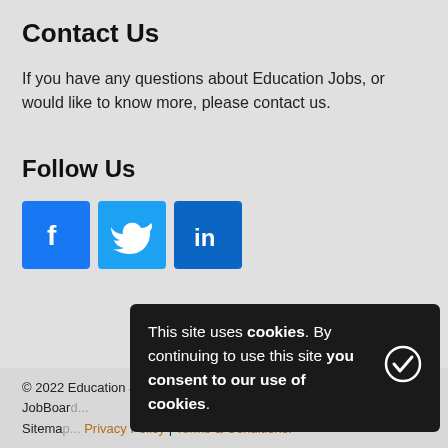Contact Us
If you have any questions about Education Jobs, or would like to know more, please contact us.
Follow Us
[Figure (infographic): Social media icons: Facebook (blue), Twitter (light blue), LinkedIn (dark blue)]
© 2022 Education Jobs
JobBoard... | Privacy Policy | Terms & Conditions.
Sitemap... | Privacy Policy | Terms & Conditions.
This site uses cookies. By continuing to use this site you consent to our use of cookies.